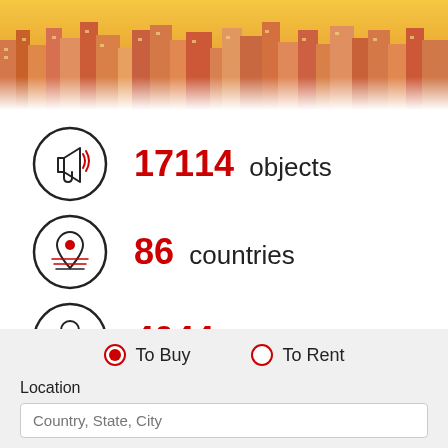[Figure (photo): Colorful Mediterranean city buildings photo banner at the top of the page]
17114 objects
86 countries
4044 sellers
To Buy
To Rent
Location
Country, State, City